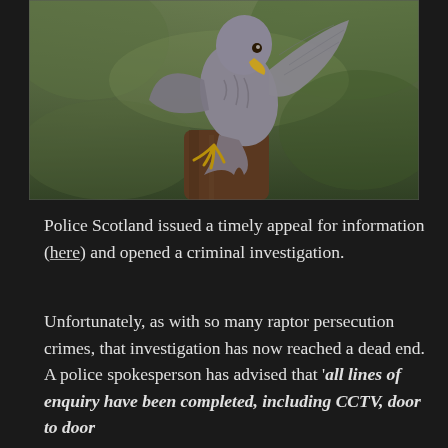[Figure (photo): A bird of prey (raptor/sparrowhawk) with wings spread, perched on a wooden post, with a blurred green background.]
Police Scotland issued a timely appeal for information (here) and opened a criminal investigation.
Unfortunately, as with so many raptor persecution crimes, that investigation has now reached a dead end. A police spokesperson has advised that 'all lines of enquiry have been completed, including CCTV, door to door...